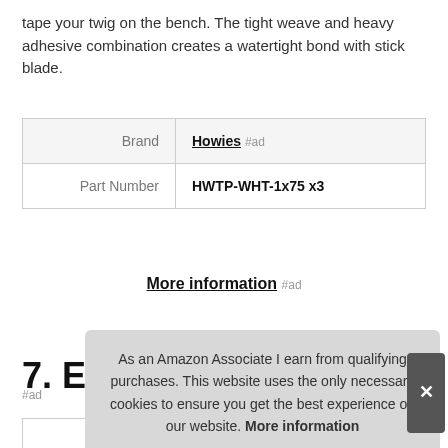tape your twig on the bench. The tight weave and heavy adhesive combination creates a watertight bond with stick blade.
|  |  |
| --- | --- |
| Brand | Howies #ad |
| Part Number | HWTP-WHT-1x75 x3 |
More information #ad
7. EAGLES
As an Amazon Associate I earn from qualifying purchases. This website uses the only necessary cookies to ensure you get the best experience on our website. More information